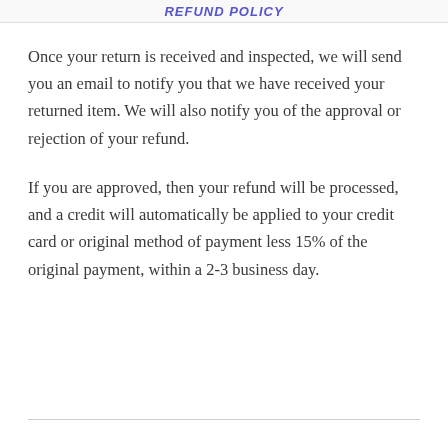REFUND POLICY
Once your return is received and inspected, we will send you an email to notify you that we have received your returned item. We will also notify you of the approval or rejection of your refund.
If you are approved, then your refund will be processed, and a credit will automatically be applied to your credit card or original method of payment less 15% of the original payment, within a 2-3 business day.